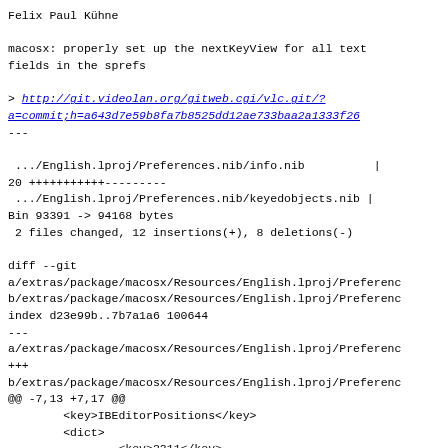Felix Paul Kühne
macosx: properly set up the nextKeyView for all text
fields in the sprefs
> http://git.videolan.org/gitweb.cgi/vlc.git/?a=commit;h=a643d7e59b8fa7b8525dd12ae733baa2a1333f26
---
.../English.lproj/Preferences.nib/info.nib          |
20 +++++++++++---------
 .../English.lproj/Preferences.nib/keyedobjects.nib |
Bin 93391 -> 94168 bytes
 2 files changed, 12 insertions(+), 8 deletions(-)
diff --git
a/extras/package/macosx/Resources/English.lproj/Preferenc
b/extras/package/macosx/Resources/English.lproj/Preferenc
index d23e99b..7b7a1a6 100644
---
a/extras/package/macosx/Resources/English.lproj/Preferenc
+++
b/extras/package/macosx/Resources/English.lproj/Preferenc
@@ -7,13 +7,17 @@
        <key>IBEditorPositions</key>
        <dict>
                <key>2311</key>
-               <string>345 425 590 230 0 0 1280 778
</string>
+               <string>345 426 590 230 0 0 1280 778